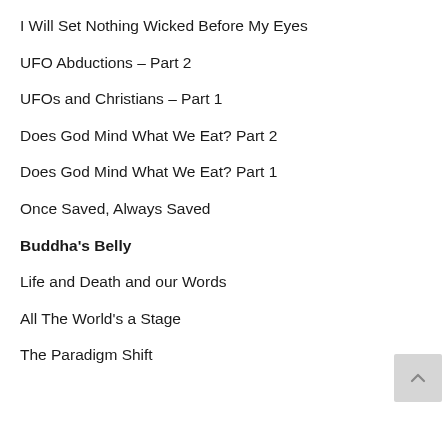I Will Set Nothing Wicked Before My Eyes
UFO Abductions – Part 2
UFOs and Christians – Part 1
Does God Mind What We Eat? Part 2
Does God Mind What We Eat? Part 1
Once Saved, Always Saved
Buddha's Belly
Life and Death and our Words
All The World's a Stage
The Paradigm Shift